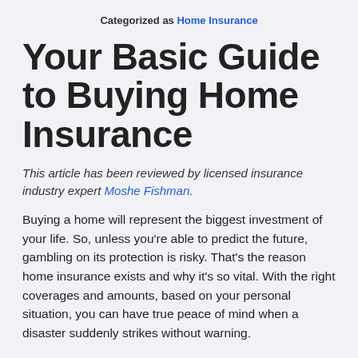Categorized as Home Insurance
Your Basic Guide to Buying Home Insurance
This article has been reviewed by licensed insurance industry expert Moshe Fishman.
Buying a home will represent the biggest investment of your life. So, unless you're able to predict the future, gambling on its protection is risky. That's the reason home insurance exists and why it's so vital. With the right coverages and amounts, based on your personal situation, you can have true peace of mind when a disaster suddenly strikes without warning.